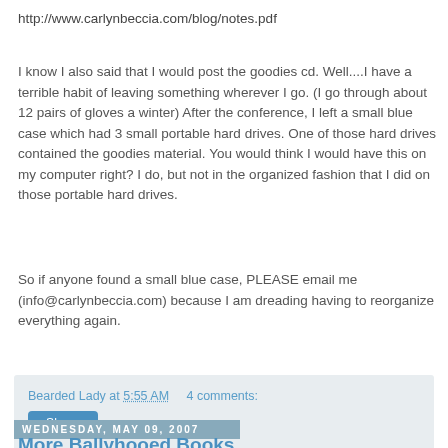http://www.carlynbeccia.com/blog/notes.pdf
I know I also said that I would post the goodies cd. Well....I have a terrible habit of leaving something wherever I go. (I go through about 12 pairs of gloves a winter) After the conference, I left a small blue case which had 3 small portable hard drives. One of those hard drives contained the goodies material. You would think I would have this on my computer right? I do, but not in the organized fashion that I did on those portable hard drives.
So if anyone found a small blue case, PLEASE email me (info@carlynbeccia.com) because I am dreading having to reorganize everything again.
Bearded Lady at 5:55 AM    4 comments:
Share
Wednesday, May 09, 2007
More Ballyhooed Books